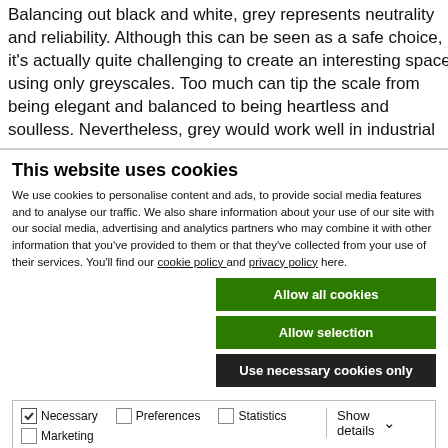Balancing out black and white, grey represents neutrality and reliability. Although this can be seen as a safe choice, it's actually quite challenging to create an interesting space using only greyscales. Too much can tip the scale from being elegant and balanced to being heartless and soulless. Nevertheless, grey would work well in industrial
This website uses cookies
We use cookies to personalise content and ads, to provide social media features and to analyse our traffic. We also share information about your use of our site with our social media, advertising and analytics partners who may combine it with other information that you've provided to them or that they've collected from your use of their services. You'll find our cookie policy and privacy policy here.
Allow all cookies
Allow selection
Use necessary cookies only
| Necessary | Preferences | Statistics | Show details |
| --- | --- | --- | --- |
| ✓ |  |  |  |
| Marketing |  |  |  |